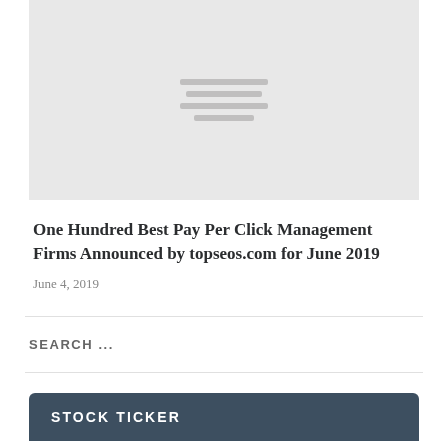[Figure (other): Gray image placeholder with four horizontal gray lines of varying widths stacked in the center]
One Hundred Best Pay Per Click Management Firms Announced by topseos.com for June 2019
June 4, 2019
SEARCH ...
STOCK TICKER